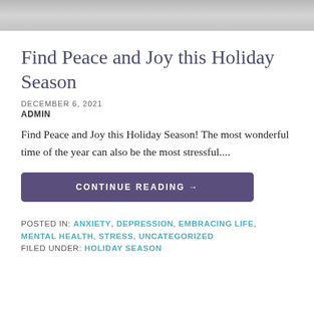[Figure (photo): Partial top image showing what appears to be a stuffed animal or holiday decoration in grey tones with a red ornament visible on the right]
Find Peace and Joy this Holiday Season
DECEMBER 6, 2021
ADMIN
Find Peace and Joy this Holiday Season! The most wonderful time of the year can also be the most stressful....
CONTINUE READING →
POSTED IN: ANXIETY, DEPRESSION, EMBRACING LIFE, MENTAL HEALTH, STRESS, UNCATEGORIZED
FILED UNDER: HOLIDAY SEASON